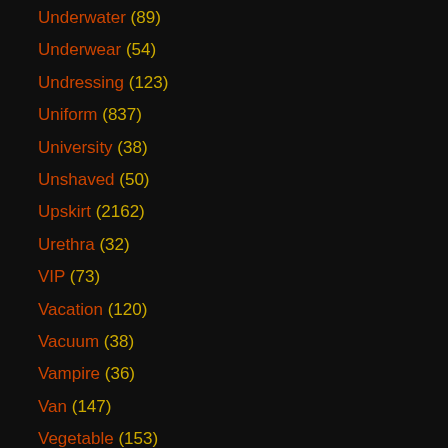Underwater (89)
Underwear (54)
Undressing (123)
Uniform (837)
University (38)
Unshaved (50)
Upskirt (2162)
Urethra (32)
VIP (73)
Vacation (120)
Vacuum (38)
Vampire (36)
Van (147)
Vegetable (153)
Vibrator (1223)